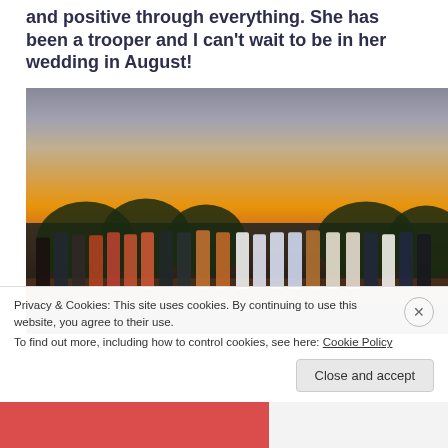and positive through everything. She has been a trooper and I can't wait to be in her wedding in August!
[Figure (photo): Group photo of approximately 20 young women standing on a dock or waterfront area at sunset, with dramatic cloudy sky and golden light behind trees in the background.]
Privacy & Cookies: This site uses cookies. By continuing to use this website, you agree to their use.
To find out more, including how to control cookies, see here: Cookie Policy